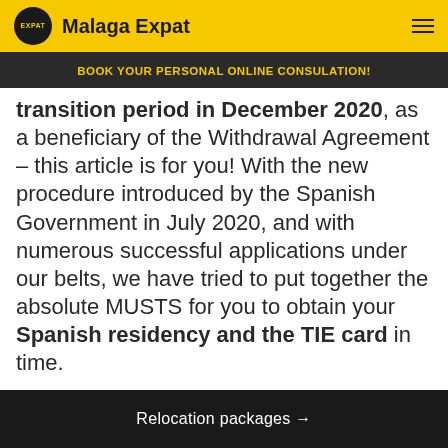Malaga Expat
BOOK YOUR PERSONAL ONLINE CONSULATION!
transition period in December 2020, as a beneficiary of the Withdrawal Agreement – this article is for you! With the new procedure introduced by the Spanish Government in July 2020, and with numerous successful applications under our belts, we have tried to put together the absolute MUSTS for you to obtain your Spanish residency and the TIE card in time.
Relocation packages →